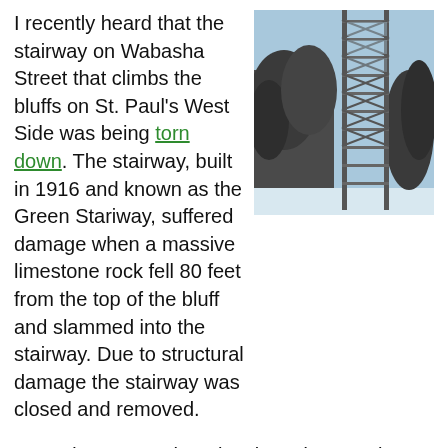I recently heard that the stairway on Wabasha Street that climbs the bluffs on St. Paul's West Side was being torn down. The stairway, built in 1916 and known as the Green Stariway, suffered damage when a massive limestone rock fell 80 feet from the top of the bluff and slammed into the stairway. Due to structural damage the stairway was closed and removed.
[Figure (photo): Photo of a tall metal stairway/fire escape structure rising up along a bluff, surrounded by bare winter trees against a blue sky with snow visible at the base.]
It's sad to see such an iconic and convenient stairway go.
It's the latest addition to the "crumbling infrastructure" line politicians are pitching right now (6 bridges in Minnesota are closed or restricted right now). But what's funny is that city engineers have been requesting funding to replace the bridge for 20 years. Annual maintenance on the stairway has cost